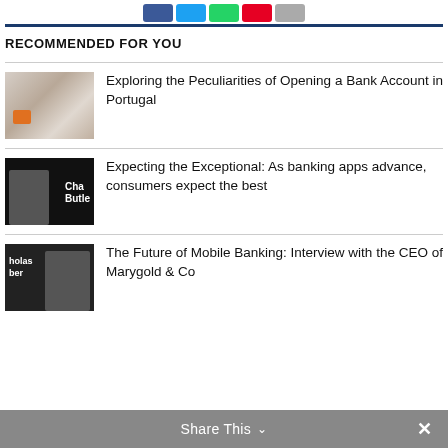[Figure (screenshot): Social share buttons: Facebook (blue), Twitter (light blue), WhatsApp (green), Pinterest (red), Email (grey)]
RECOMMENDED FOR YOU
[Figure (photo): Hands holding a tablet or card, light toned photo with orange accent]
Exploring the Peculiarities of Opening a Bank Account in Portugal
[Figure (photo): Black and white photo of person with text overlay reading 'Cha Butler']
Expecting the Exceptional: As banking apps advance, consumers expect the best
[Figure (photo): Black and white photo showing 'holas ber' text with person in background]
The Future of Mobile Banking: Interview with the CEO of Marygold & Co
Share This ∨  ✕